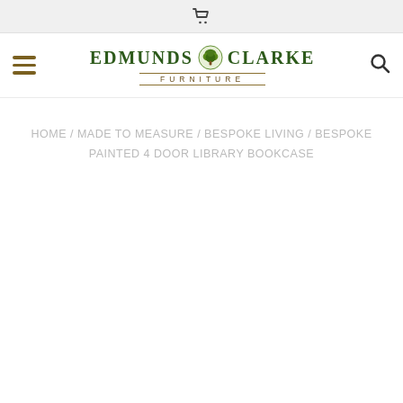🛒
[Figure (logo): Edmunds & Clarke Furniture logo with tree icon]
HOME / MADE TO MEASURE / BESPOKE LIVING / BESPOKE PAINTED 4 DOOR LIBRARY BOOKCASE